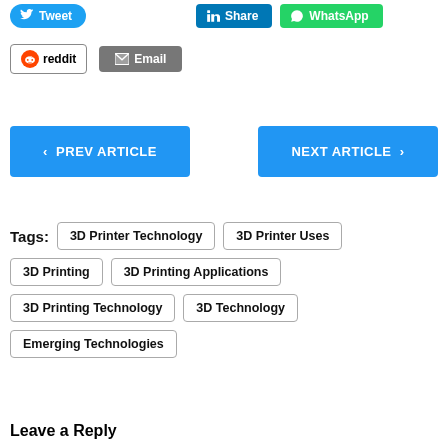[Figure (screenshot): Social share buttons: Tweet (Twitter/blue), Share (LinkedIn/blue), WhatsApp (green), Reddit, Email (gray)]
< PREV ARTICLE
NEXT ARTICLE >
Tags:  3D Printer Technology  3D Printer Uses  3D Printing  3D Printing Applications  3D Printing Technology  3D Technology  Emerging Technologies
Leave a Reply